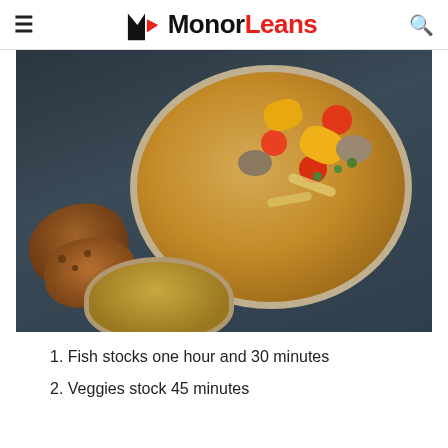≡  Monor Leans  🔍
[Figure (photo): Bowl of vegetable and fish soup with mushrooms, carrots, yellow peppers, noodles, and herbs, served alongside slices of crusty toasted bread. A smaller bowl is partially visible at the bottom.]
1. Fish stocks one hour and 30 minutes
2. Veggies stock 45 minutes